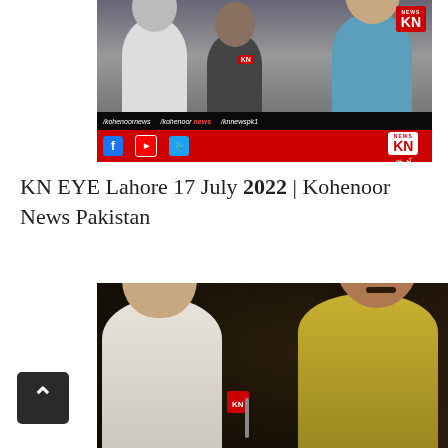[Figure (screenshot): Screenshot of Kohenoor News TV video thumbnail showing two people, with social media handles bar showing /kohenoornews, /kohenoor news, /knnewspk1, Facebook, YouTube, Twitter icons, KN News logo, and website www.kohenoor.tv]
KN EYE Lahore 17 July 2022 | Kohenoor News Pakistan
[Figure (screenshot): Video screenshot showing a reporter interviewing a man wearing a black cap and yellow shalwar kameez, outdoors at night in a bazaar/market setting, with KN microphone visible]